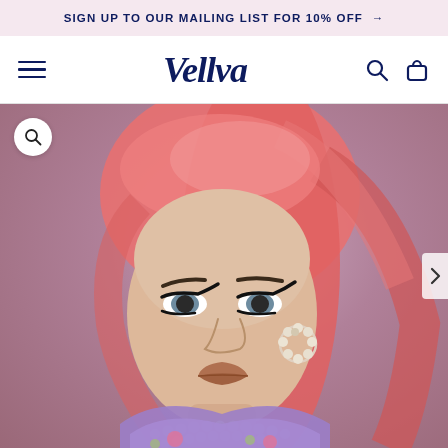SIGN UP TO OUR MAILING LIST FOR 10% OFF →
Vellva
[Figure (photo): Fashion model with pink hair in a sleek ponytail, dramatic eye makeup, pearl hoop earrings, pearl necklace, and a purple floral top, posed against a pink/mauve background]